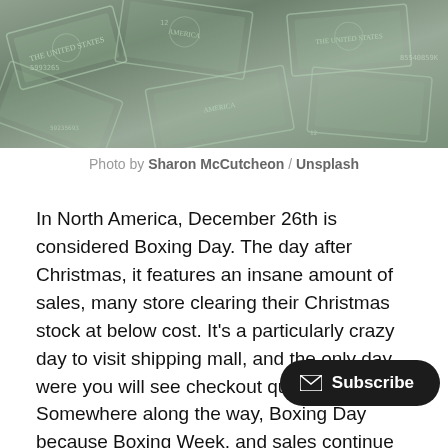[Figure (photo): Photo of scattered US dollar bills, black and white / desaturated with green tints]
Photo by Sharon McCutcheon / Unsplash
In North America, December 26th is considered Boxing Day. The day after Christmas, it features an insane amount of sales, many store clearing their Christmas stock at below cost. It's a particularly crazy day to visit shipping mall, and the only day were you will see checkout queues online. Somewhere along the way, Boxing Day because Boxing Week, and sales continue up to January 2nd. This year, the most impressive sale [obscured] the Steam store. I bought four games [obscured] Bejeweled for 1$, Doom for 1$ and Unreal Tournament 3 for 10$. Not a bad deal, even